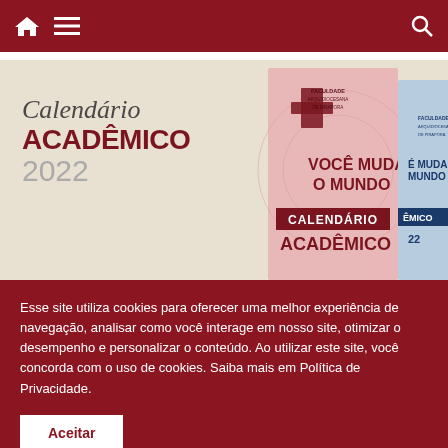Navigation bar with home icon, menu icon, and search icon
[Figure (illustration): Calendário Acadêmico 2022 promotional banner showing book/calendar covers with text 'Você Muda o Mundo' and Faculdade Arquidiocesana de Pirapora logo]
Esse site utiliza cookies para oferecer uma melhor experiência de navegação, analisar como você interage em nosso site, otimizar o desempenho e personalizar o conteúdo. Ao utilizar este site, você concorda com o uso de cookies. Saiba mais em Política de Privacidade.
Aceitar